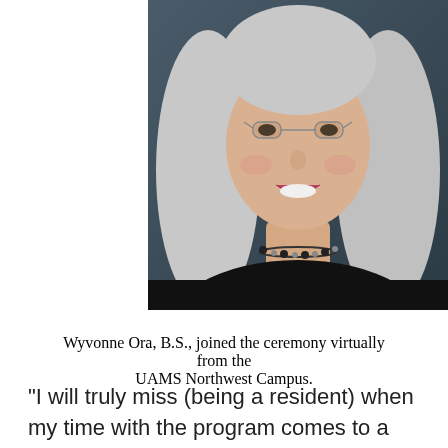[Figure (photo): Portrait photo of a smiling woman with long gray hair, glasses, wearing a black top and a black bead necklace, set against a dark blue-gray background.]
Wyvonne Ora, B.S., joined the ceremony virtually from the UAMS Northwest Campus.
“I will truly miss (being a resident) when my time with the program comes to a close, due to